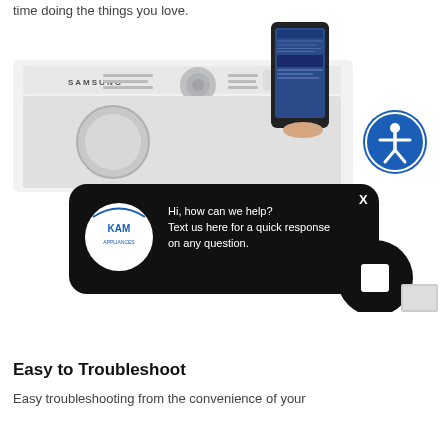time doing the things you love.
[Figure (screenshot): Screenshot of Samsung appliance product page showing a Samsung dryer with a smartphone displaying a webpage, an accessibility icon (blue circle with person), and a KAM Appliances chat popup overlay saying 'Hi, how can we help? Text us here for a quick response on any question.' with a close X button. A black chat button circle is visible at bottom right along with a gray gradient element.]
Easy to Troubleshoot
Easy troubleshooting from the convenience of your